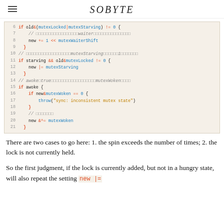SOBYTE
[Figure (screenshot): Code block showing Go mutex code lines 6-21 with syntax highlighting on a light tan background]
There are two cases to go here: 1. the spin exceeds the number of times; 2. the lock is not currently held.
So the first judgment, if the lock is currently added, but not in a hungry state, will also repeat the setting new |=